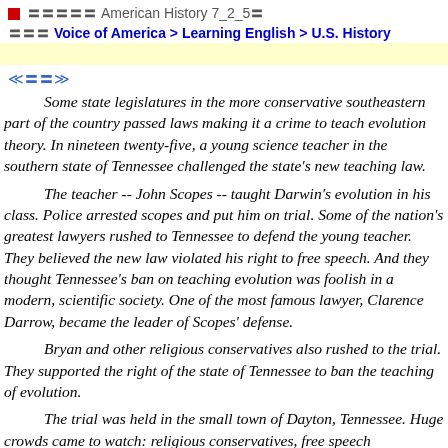■〓〓〓〓〓American History 7_2_5〓
〓〓〓 Voice of America > Learning English > U.S. History
≪〓〓≫
Some state legislatures in the more conservative southeastern part of the country passed laws making it a crime to teach evolution theory. In nineteen twenty-five, a young science teacher in the southern state of Tennessee challenged the state's new teaching law. The teacher -- John Scopes -- taught Darwin's evolution in his class. Police arrested scopes and put him on trial. Some of the nation's greatest lawyers rushed to Tennessee to defend the young teacher. They believed the new law violated his right to free speech. And they thought Tennessee's ban on teaching evolution was foolish in a modern, scientific society. One of the most famous lawyer, Clarence Darrow, became the leader of Scopes' defense. Bryan and other religious conservatives also rushed to the trial. They supported the right of the state of Tennessee to ban the teaching of evolution. The trial was held in the small town of Dayton, Tennessee. Huge crowds came to watch: religious conservatives, free speech supporters, reporters, and others. The high point of the trial came when Bryan himself sat b Lawyer Clarence Darrow asked Bryan question after questio